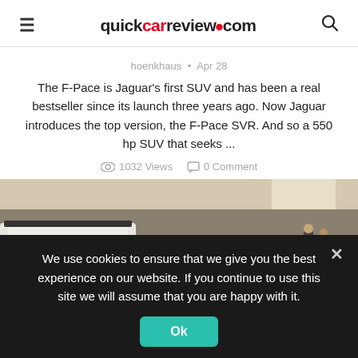quickcarreview.com
hoenkhaus • Apr 28
The F-Pace is Jaguar's first SUV and has been a real bestseller since its launch three years ago. Now Jaguar introduces the top version, the F-Pace SVR. And so a 550 hp SUV that seeks ...
1032 Views   0 Comment
[Figure (photo): A dark Jaguar F-Pace SVR on display at an auto show, with a Red Cross emergency vehicle in the background and people viewing exhibits.]
We use cookies to ensure that we give you the best experience on our website. If you continue to use this site we will assume that you are happy with it.